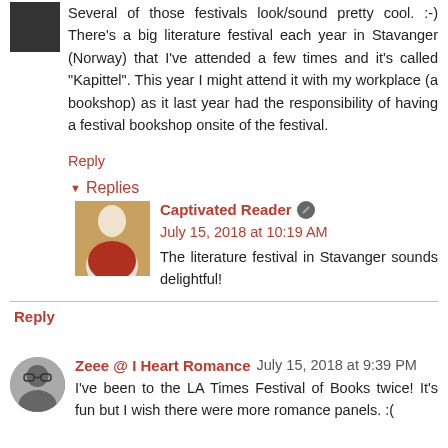Several of those festivals look/sound pretty cool. :-) There's a big literature festival each year in Stavanger (Norway) that I've attended a few times and it's called "Kapittel". This year I might attend it with my workplace (a bookshop) as it last year had the responsibility of having a festival bookshop onsite of the festival.
Reply
▾ Replies
Captivated Reader  July 15, 2018 at 10:19 AM
The literature festival in Stavanger sounds delightful!
Reply
Zeee @ I Heart Romance  July 15, 2018 at 9:39 PM
I've been to the LA Times Festival of Books twice! It's fun but I wish there were more romance panels. :(